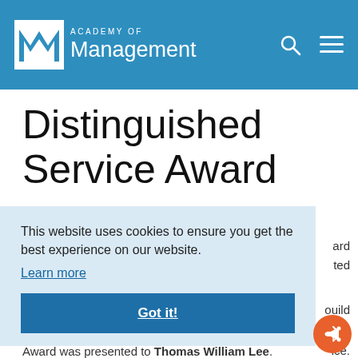ACADEMY OF Management
Distinguished Service Award
This website uses cookies to ensure you get the best experience on our website.
Learn more
Got it!
Award was presented to Thomas William Lee.